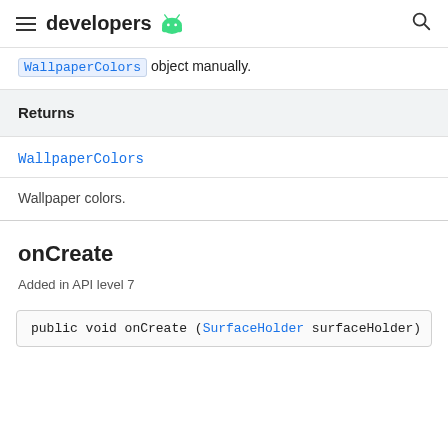developers
WallpaperColors object manually.
Returns
WallpaperColors
Wallpaper colors.
onCreate
Added in API level 7
public void onCreate (SurfaceHolder surfaceHolder)